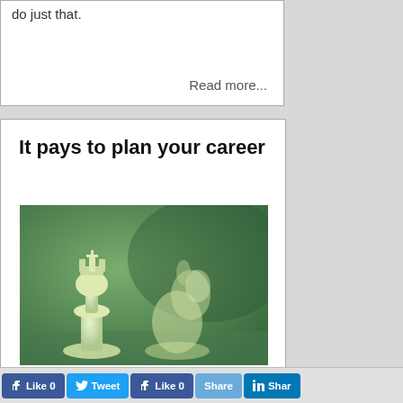do just that.
Read more...
It pays to plan your career
[Figure (photo): Two chess pieces (king and knight) photographed against a green background, suggesting strategy and planning.]
Moving up the career ladder isn't exactly a game of chess.
Like 0   Tweet   Like 0   Share   Share